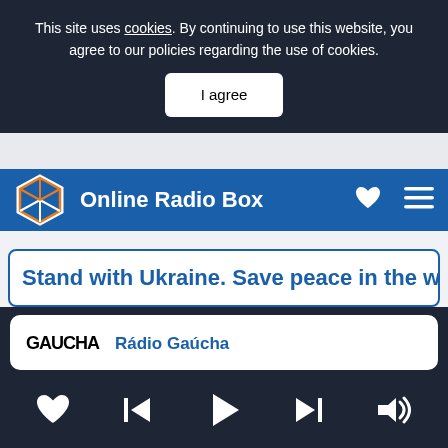This site uses cookies. By continuing to use this website, you agree to our policies regarding the use of cookies.
I agree
[Figure (screenshot): Advertisement / empty gray area]
[Figure (logo): Online Radio Box navigation bar with hexagon logo, heart icon, and menu icon]
Stand with Ukraine. Save peace in the world!
Rádio Gaúcha
[Figure (screenshot): Media player controls: heart, skip back, play, skip forward, volume]